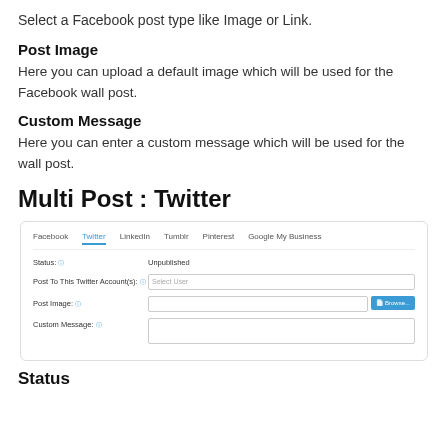Select a Facebook post type like Image or Link.
Post Image
Here you can upload a default image which will be used for the Facebook wall post.
Custom Message
Here you can enter a custom message which will be used for the wall post.
Multi Post : Twitter
[Figure (screenshot): Screenshot of a social media multi-post settings UI showing tabs: Facebook, Twitter, LinkedIn, Tumblr, Pinterest, Google My Business. Twitter tab is active. Form fields shown: Status (Unpublished), Post To This Twitter Account(s) with Select User dropdown, Post Image with file input and Browse button, Custom Message with textarea.]
Status